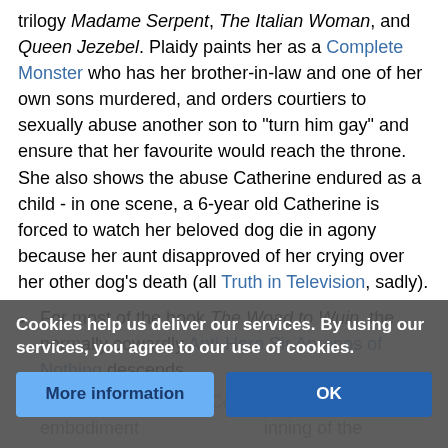trilogy Madame Serpent, The Italian Woman, and Queen Jezebel. Plaidy paints her as a Complete Monster who has her brother-in-law and one of her own sons murdered, and orders courtiers to sexually abuse another son to "turn him gay" and ensure that her favourite would reach the throne. She also shows the abuse Catherine endured as a child - in one scene, a 6-year old Catherine is forced to watch her beloved dog die in agony because her aunt disapproved of her crying over her other dog's death (all Truth in Television, sadly).
For most of the book The Woad to Wuin, the normally cowardly Anti-Hero Sir Apropos of Nothing descends
Gerald Tarrant of the Coldfire Trilogy is the true embodiment [... inning of the
Cookies help us deliver our services. By using our services, you agree to our use of cookies.